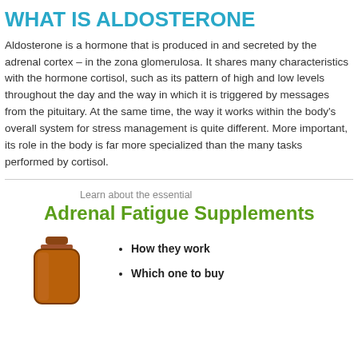WHAT IS ALDOSTERONE
Aldosterone is a hormone that is produced in and secreted by the adrenal cortex – in the zona glomerulosa. It shares many characteristics with the hormone cortisol, such as its pattern of high and low levels throughout the day and the way in which it is triggered by messages from the pituitary. At the same time, the way it works within the body's overall system for stress management is quite different. More important, its role in the body is far more specialized than the many tasks performed by cortisol.
Learn about the essential
Adrenal Fatigue Supplements
[Figure (photo): Amber glass supplement bottle, partially visible from the top]
How they work
Which one to buy